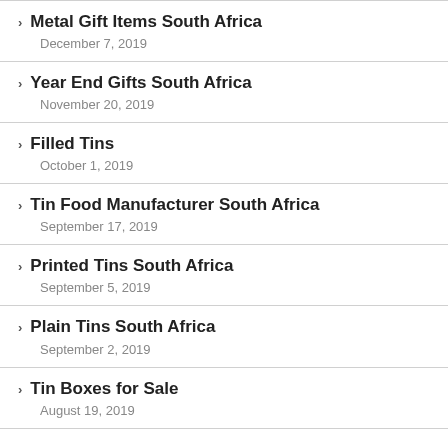Metal Gift Items South Africa
December 7, 2019
Year End Gifts South Africa
November 20, 2019
Filled Tins
October 1, 2019
Tin Food Manufacturer South Africa
September 17, 2019
Printed Tins South Africa
September 5, 2019
Plain Tins South Africa
September 2, 2019
Tin Boxes for Sale
August 19, 2019